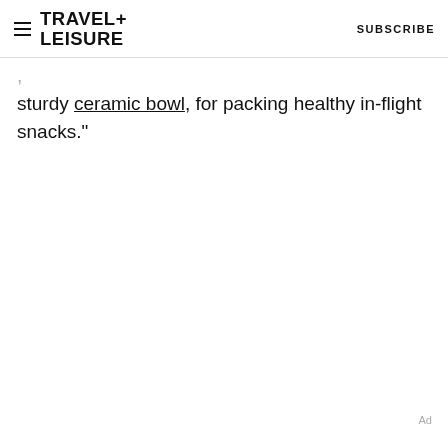TRAVEL+ LEISURE   SUBSCRIBE
sturdy ceramic bowl, for packing healthy in-flight snacks."
Ad